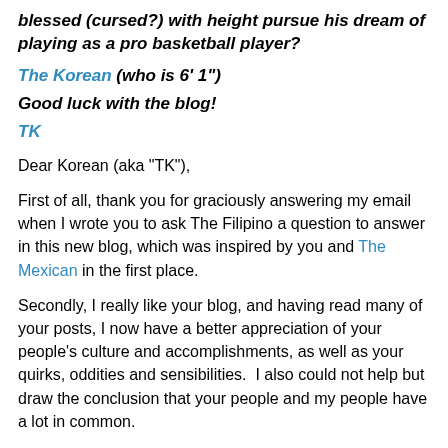blessed (cursed?) with height pursue his dream of playing as a pro basketball player?
The Korean (who is 6' 1")
Good luck with the blog!
TK
Dear Korean (aka "TK"),
First of all, thank you for graciously answering my email when I wrote you to ask The Filipino a question to answer in this new blog, which was inspired by you and The Mexican in the first place.
Secondly, I really like your blog, and having read many of your posts, I now have a better appreciation of your people's culture and accomplishments, as well as your quirks, oddities and sensibilities.  I also could not help but draw the conclusion that your people and my people have a lot in common.